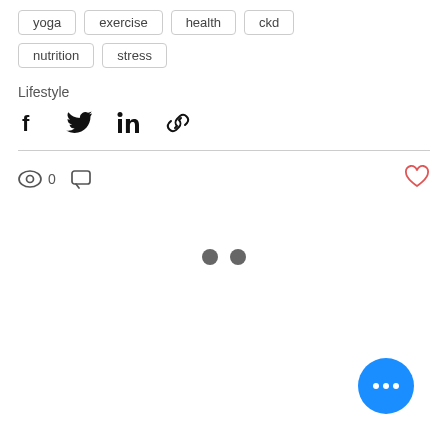yoga  exercise  health  ckd  nutrition  stress
Lifestyle
[Figure (infographic): Social share icons: Facebook, Twitter, LinkedIn, link/chain]
[Figure (infographic): Stats row: eye icon with 0, comment icon, heart icon (liked/outline red); two navigation dots; floating action button with three dots]